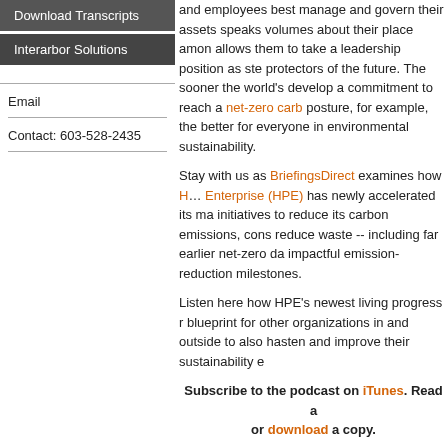Download Transcripts
Interarbor Solutions
Email
Contact: 603-528-2435
and employees best manage and govern their assets speaks volumes about their place among allows them to take a leadership position as stewards protectors of the future. The sooner the world's develop a commitment to reach a net-zero carbon posture, for example, the better for everyone in environmental sustainability.
Stay with us as BriefingsDirect examines how Hewlett Packard Enterprise (HPE) has newly accelerated its many initiatives to reduce its carbon emissions, conserve and reduce waste -- including far earlier net-zero dates and more impactful emission-reduction milestones.
Listen here how HPE's newest living progress report acts as a blueprint for other organizations in and outside of IT looking to also hasten and improve their sustainability efforts.
Subscribe to the podcast on iTunes. Read a transcript or download a copy.
Here to share the latest on HPE's plans and goals around deep and lasting sustainability is John Frey, Chief Technologist for Sustainable Transformation at HPE. The discussion is moderated by Dana Gardner, Principal Analyst at Interarbor Solutions.